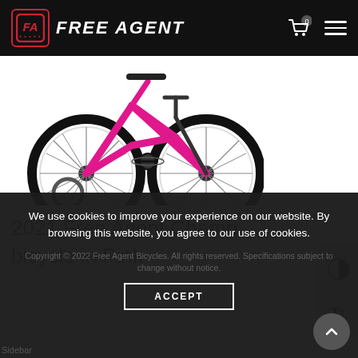FreeAgent
[Figure (photo): 2021 Free Agent Champ bicycle in pink, shown from the side with black tires and pink frame]
2021 Free Agent Champ bicycle in Pink
We use cookies to improve your experience on our website. By browsing this website, you agree to our use of cookies.
Copyright © 2022 Free Agent Bicycles. All rights reserved. Specifications subject to change without notice.
ACCEPT
Sidebar